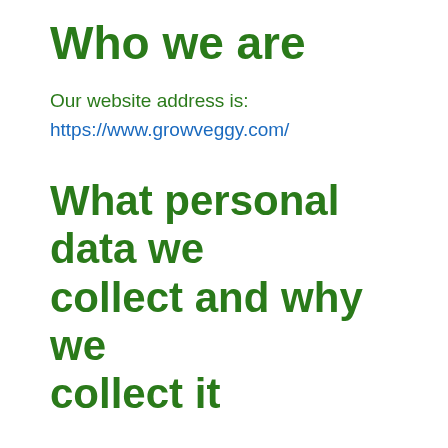Who we are
Our website address is:
https://www.growveggy.com/
What personal data we collect and why we collect it
Comments
When visitors leave comments on the site we collect the data shown in the comments form, and also the visitor's IP address and browser